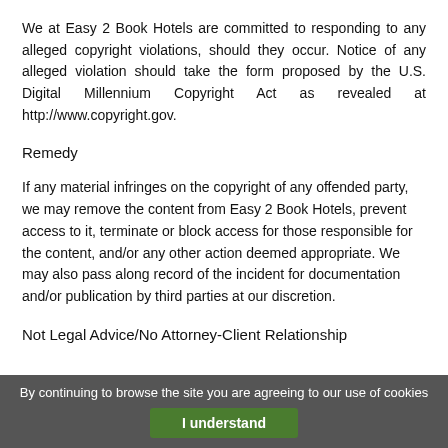We at Easy 2 Book Hotels are committed to responding to any alleged copyright violations, should they occur. Notice of any alleged violation should take the form proposed by the U.S. Digital Millennium Copyright Act as revealed at http://www.copyright.gov.
Remedy
If any material infringes on the copyright of any offended party, we may remove the content from Easy 2 Book Hotels, prevent access to it, terminate or block access for those responsible for the content, and/or any other action deemed appropriate. We may also pass along record of the incident for documentation and/or publication by third parties at our discretion.
Not Legal Advice/No Attorney-Client Relationship
By continuing to browse the site you are agreeing to our use of cookies
I understand